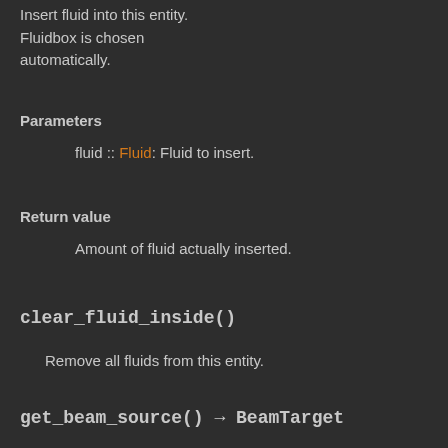Insert fluid into this entity. Fluidbox is chosen automatically.
Parameters
fluid :: Fluid: Fluid to insert.
Return value
Amount of fluid actually inserted.
clear_fluid_inside()
Remove all fluids from this entity.
get_beam_source() → BeamTarget
Get the source of this beam.
Can only be used if this is Beam